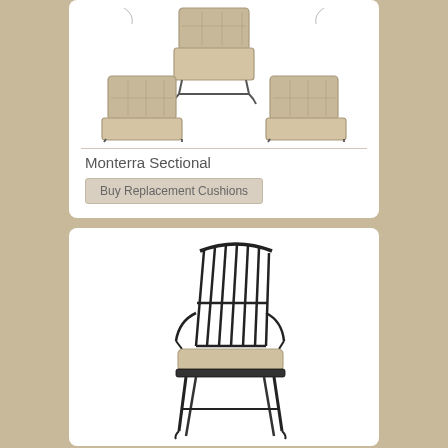[Figure (photo): Monterra Sectional outdoor furniture set with three cushioned sections on metal frames, beige/tan cushions]
Monterra Sectional
Buy Replacement Cushions
[Figure (photo): Dark metal outdoor dining chair with slatted high back and beige seat cushion]